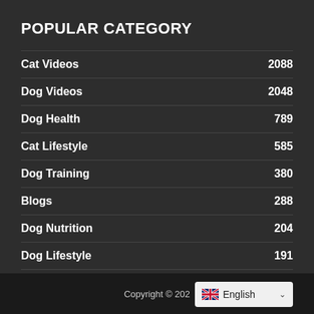POPULAR CATEGORY
Cat Videos   2088
Dog Videos   2048
Dog Health   789
Cat Lifestyle   585
Dog Training   380
Blogs   288
Dog Nutrition   204
Dog Lifestyle   191
Cat Health   166
Copyright © 202